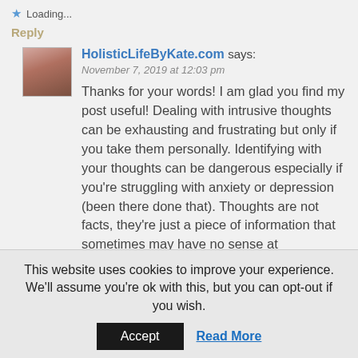Loading...
Reply
[Figure (photo): Avatar photo of HolisticLifeByKate.com commenter]
HolisticLifeByKate.com says:
November 7, 2019 at 12:03 pm
Thanks for your words! I am glad you find my post useful! Dealing with intrusive thoughts can be exhausting and frustrating but only if you take them personally. Identifying with your thoughts can be dangerous especially if you're struggling with anxiety or depression (been there done that). Thoughts are not facts, they're just a piece of information that sometimes may have no sense at
This website uses cookies to improve your experience. We'll assume you're ok with this, but you can opt-out if you wish.
Accept
Read More